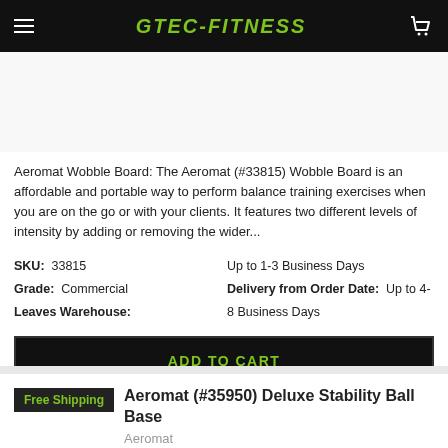GTEC-FITNESS
Aeromat Wobble Board: The Aeromat (#33815) Wobble Board is an affordable and portable way to perform balance training exercises when you are on the go or with your clients. It features two different levels of intensity by adding or removing the wider...
SKU: 33815   Up to 1-3 Business Days
Grade: Commercial   Delivery from Order Date: Up to 4-8 Business Days
Leaves Warehouse:
ADD TO CART
Free Shipping
Aeromat (#35950) Deluxe Stability Ball Base
Aeromat